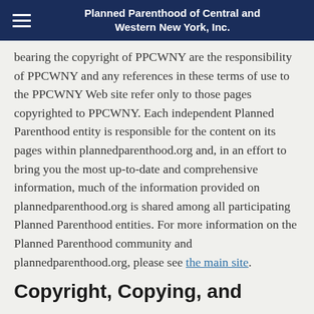Planned Parenthood of Central and Western New York, Inc.
bearing the copyright of PPCWNY are the responsibility of PPCWNY and any references in these terms of use to the PPCWNY Web site refer only to those pages copyrighted to PPCWNY. Each independent Planned Parenthood entity is responsible for the content on its pages within plannedparenthood.org and, in an effort to bring you the most up-to-date and comprehensive information, much of the information provided on plannedparenthood.org is shared among all participating Planned Parenthood entities. For more information on the Planned Parenthood community and plannedparenthood.org, please see the main site.
Copyright, Copying, and